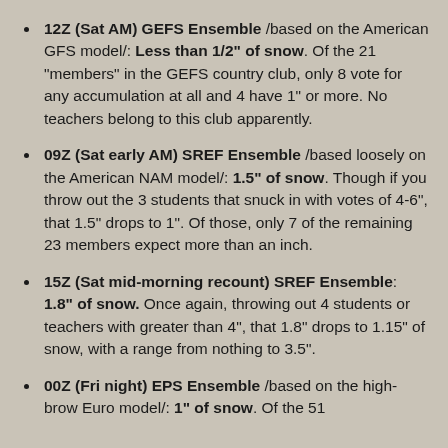12Z (Sat AM) GEFS Ensemble /based on the American GFS model/: Less than 1/2" of snow. Of the 21 "members" in the GEFS country club, only 8 vote for any accumulation at all and 4 have 1" or more. No teachers belong to this club apparently.
09Z (Sat early AM) SREF Ensemble /based loosely on the American NAM model/: 1.5" of snow. Though if you throw out the 3 students that snuck in with votes of 4-6", that 1.5" drops to 1". Of those, only 7 of the remaining 23 members expect more than an inch.
15Z (Sat mid-morning recount) SREF Ensemble: 1.8" of snow. Once again, throwing out 4 students or teachers with greater than 4", that 1.8" drops to 1.15" of snow, with a range from nothing to 3.5".
00Z (Fri night) EPS Ensemble /based on the high-brow Euro model/: 1" of snow. Of the 51